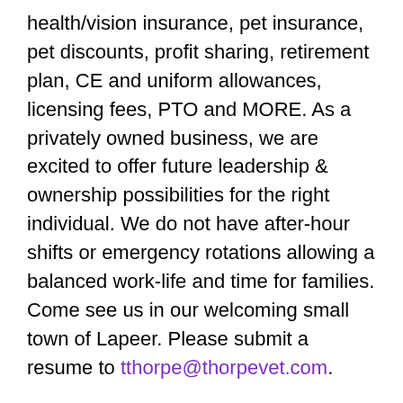health/vision insurance, pet insurance, pet discounts, profit sharing, retirement plan, CE and uniform allowances, licensing fees, PTO and MORE. As a privately owned business, we are excited to offer future leadership & ownership possibilities for the right individual. We do not have after-hour shifts or emergency rotations allowing a balanced work-life and time for families. Come see us in our welcoming small town of Lapeer. Please submit a resume to tthorpe@thorpevet.com.
C-SNIP, a nonprofit veterinary clinic, is expanding our team. The full-time staff veterinarian will work closely with the Medical Director and Leadership team to provide high quality surgery and wellness services. Benefits include 4-day work week, paid time off, holiday pay, professional development allowance, health, vision, short term disability, term life, and